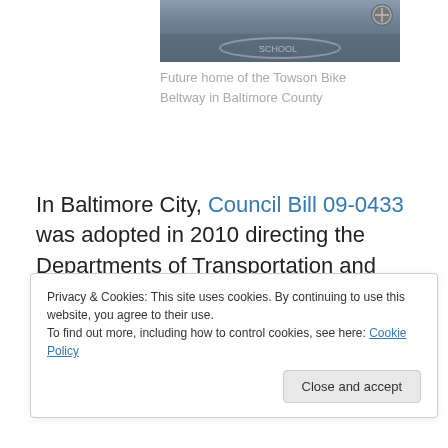[Figure (photo): Aerial or street-view photo of a road or parking area, future home of the Towson Bike Beltway in Baltimore County]
Future home of the Towson Bike Beltway in Baltimore County
In Baltimore City, Council Bill 09-0433 was adopted in 2010 directing the Departments of Transportation and Planning to apply “Complete Streets” principles to the planning, design, and construction of all new City
Privacy & Cookies: This site uses cookies. By continuing to use this website, you agree to their use.
To find out more, including how to control cookies, see here: Cookie Policy
Close and accept